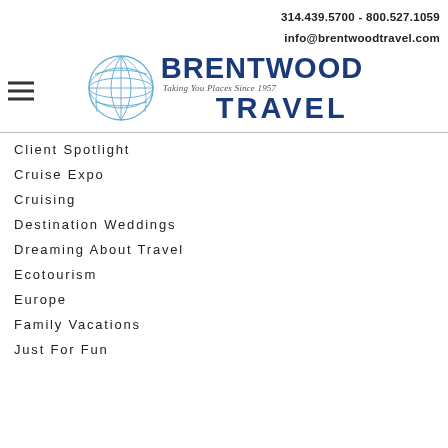314.439.5700 - 800.527.1059
info@brentwoodtravel.com
[Figure (logo): Brentwood Travel logo with globe graphic and tagline 'Taking You Places Since 1957']
Client Spotlight
Cruise Expo
Cruising
Destination Weddings
Dreaming About Travel
Ecotourism
Europe
Family Vacations
Just For Fun